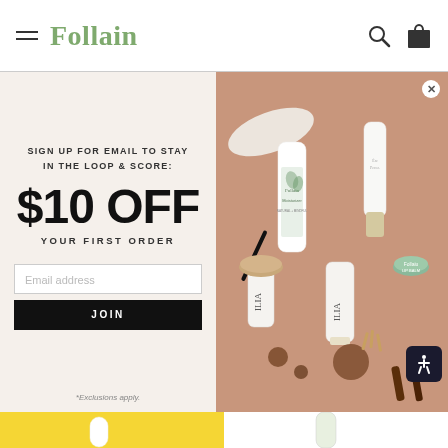Follain
SIGN UP FOR EMAIL TO STAY IN THE LOOP & SCORE:
$10 OFF
YOUR FIRST ORDER
Email address
JOIN
*Exclusions apply.
[Figure (photo): Flatlay of beauty and skincare products including Follain Moisturizer, ILIA beauty products, and Ere Perez products on a pink/terracotta background]